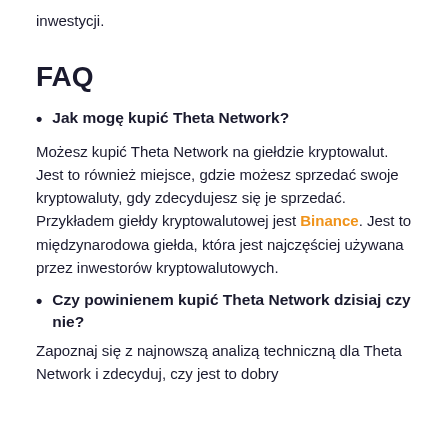inwestycji.
FAQ
Jak mogę kupić Theta Network?
Możesz kupić Theta Network na giełdzie kryptowalut. Jest to również miejsce, gdzie możesz sprzedać swoje kryptowaluty, gdy zdecydujesz się je sprzedać. Przykładem giełdy kryptowalutowej jest Binance. Jest to międzynarodowa giełda, która jest najczęściej używana przez inwestorów kryptowalutowych.
Czy powinienem kupić Theta Network dzisiaj czy nie?
Zapoznaj się z najnowszą analizą techniczną dla Theta Network i zdecyduj, czy jest to dobry